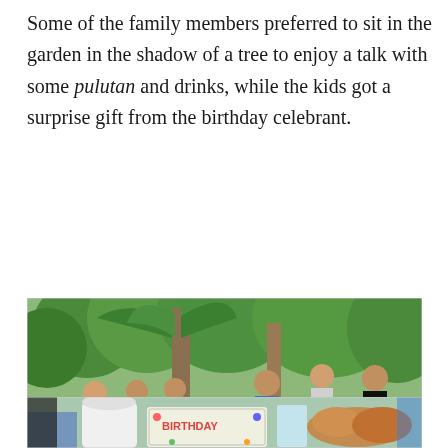Some of the family members preferred to sit in the garden in the shadow of a tree to enjoy a talk with some pulutan and drinks, while the kids got a surprise gift from the birthday celebrant.
[Figure (photo): Group of people sitting and standing in a garden with tropical trees (palm trees). Several young people sit on chairs around a stone table, a person in a blue shirt stands in the center, another stands behind, and a person in a black shirt sits on a motorcycle to the right. Lush green garden setting.]
[Figure (photo): Partial view of a table with food and drinks including a birthday cake box with colorful text, a white ice cream container, and other food items. A person and blue chair visible in the background.]